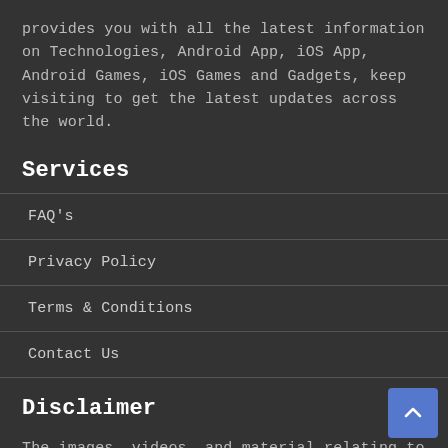provides you with all the latest information on Technologies, Android App, iOS App, Android Games, iOS Games and Gadgets, keep visiting to get the latest updates across the world.
Services
FAQ's
Privacy Policy
Terms & Conditions
Contact Us
Disclaimer
The images, videos, and material relating to technology featured on this website are solely for educational purpose. If we used the content of